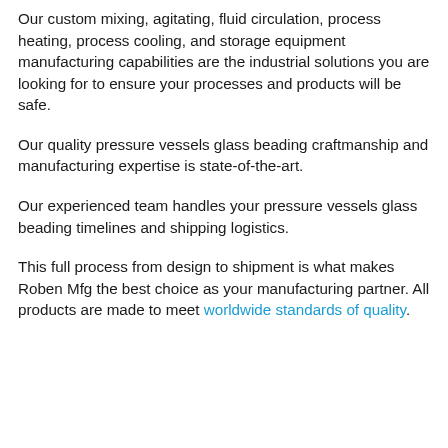Our custom mixing, agitating, fluid circulation, process heating, process cooling, and storage equipment manufacturing capabilities are the industrial solutions you are looking for to ensure your processes and products will be safe.
Our quality pressure vessels glass beading craftmanship and manufacturing expertise is state-of-the-art.
Our experienced team handles your pressure vessels glass beading timelines and shipping logistics.
This full process from design to shipment is what makes Roben Mfg the best choice as your manufacturing partner. All products are made to meet worldwide standards of quality.